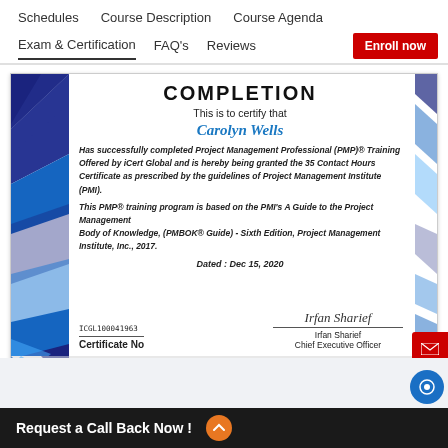Schedules   Course Description   Course Agenda
Exam & Certification   FAQ's   Reviews   Enroll now
[Figure (screenshot): Certificate of Completion from iCert Global for Carolyn Wells, PMP Training, dated Dec 15, 2020, signed by Irfan Sharief, Chief Executive Officer. Certificate No ICGL100041963. Website: www.icertglobal.com]
Request a Call Back Now !